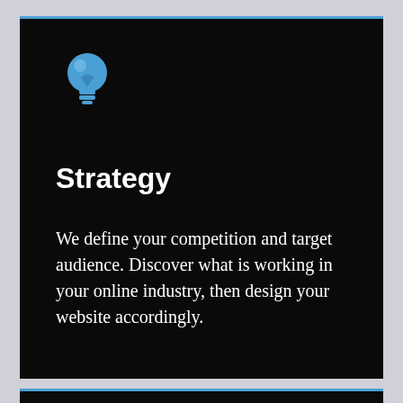[Figure (illustration): Blue lightbulb icon on black background]
Strategy
We define your competition and target audience. Discover what is working in your online industry, then design your website accordingly.
[Figure (illustration): Blue pen/pencil icon on black background at bottom, with blue bell notification badge]